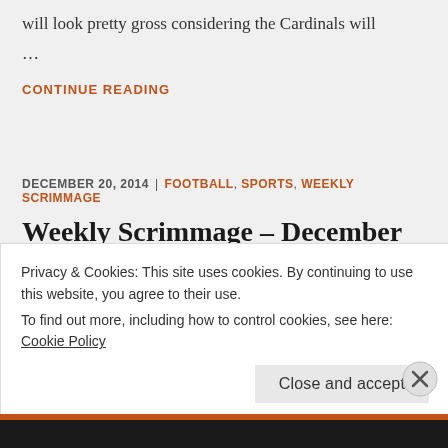will look pretty gross considering the Cardinals will
...
CONTINUE READING
DECEMBER 20, 2014 | FOOTBALL, SPORTS, WEEKLY SCRIMMAGE
Weekly Scrimmage – December 20th, 2014
Privacy & Cookies: This site uses cookies. By continuing to use this website, you agree to their use.
To find out more, including how to control cookies, see here: Cookie Policy
Close and accept